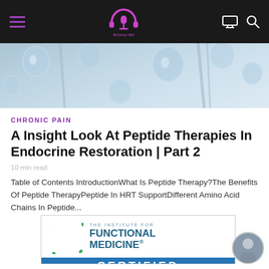[Figure (screenshot): Navigation bar with hamburger menu, BioVoice360 podcast logo (microphone with headphones, purple), monitor icon, and search icon on dark background]
[Figure (photo): Close-up of water droplets or clear liquid drops on a light blue surface, hero image]
CHRONIC PAIN
A Insight Look At Peptide Therapies In Endocrine Restoration | Part 2
10 min read
Table of Contents IntroductionWhat Is Peptide Therapy?The Benefits Of Peptide TherapyPeptide In HRT SupportDifferent Amino Acid Chains In Peptide...
[Figure (logo): The Institute for Functional Medicine certified logo. Top white section with circular molecule logo in green and blue dots, text 'THE INSTITUTE FOR FUNCTIONAL MEDICINE®'. Bottom blue bar with white text 'CERTIFIED']